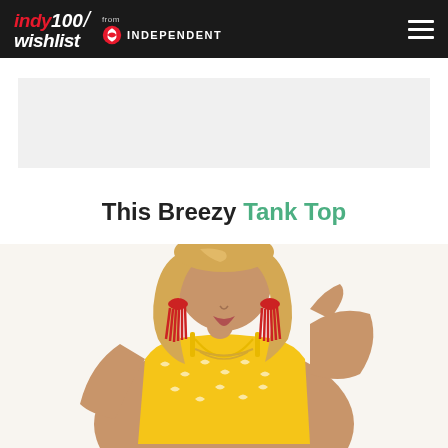indy100/wishlist from INDEPENDENT
[Figure (other): Advertisement placeholder - light grey rectangle]
This Breezy Tank Top
[Figure (photo): Woman with blonde hair wearing a yellow patterned tank top with spaghetti straps, red tassel earrings, and a gold chain necklace, posing with one hand raised near her head]